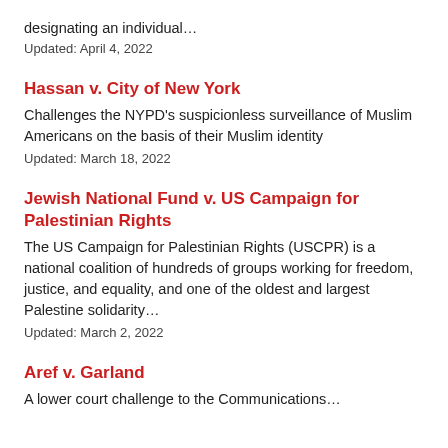designating an individual…
Updated: April 4, 2022
Hassan v. City of New York
Challenges the NYPD's suspicionless surveillance of Muslim Americans on the basis of their Muslim identity
Updated: March 18, 2022
Jewish National Fund v. US Campaign for Palestinian Rights
The US Campaign for Palestinian Rights (USCPR) is a national coalition of hundreds of groups working for freedom, justice, and equality, and one of the oldest and largest Palestine solidarity…
Updated: March 2, 2022
Aref v. Garland
A lower court challenge to the Communications…